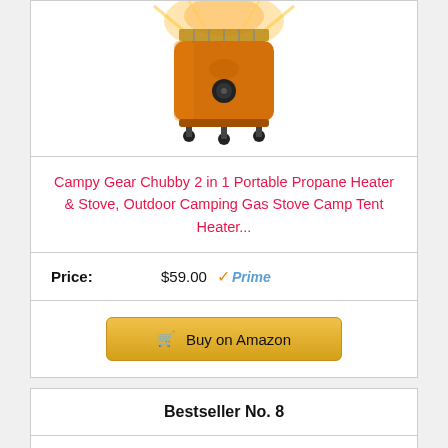[Figure (photo): Orange portable propane heater/stove product photo on white background, top portion cut off showing the cylindrical orange body with metal grill and black control knob]
Campy Gear Chubby 2 in 1 Portable Propane Heater & Stove, Outdoor Camping Gas Stove Camp Tent Heater...
Price: $59.00 Prime
Buy on Amazon
Bestseller No. 8
[Figure (photo): Orange circular radiant propane heater product photo, front view showing heating element and black cylindrical base/canister]